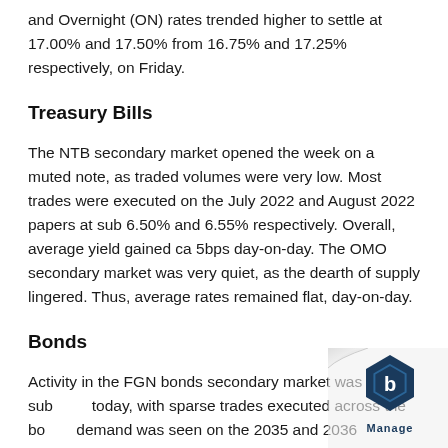and Overnight (ON) rates trended higher to settle at 17.00% and 17.50% from 16.75% and 17.25% respectively, on Friday.
Treasury Bills
The NTB secondary market opened the week on a muted note, as traded volumes were very low. Most trades were executed on the July 2022 and August 2022 papers at sub 6.50% and 6.55% respectively. Overall, average yield gained ca 5bps day-on-day. The OMO secondary market was very quiet, as the dearth of supply lingered. Thus, average rates remained flat, day-on-day.
Bonds
Activity in the FGN bonds secondary market was subdued today, with sparse trades executed across the board. Buying demand was seen on the 2035 and 2036 maturities at c.12.60% levels while the 2050s saw offers at c.12.8...
[Figure (logo): Manage logo — blue hexagon icon with letter B and the word Manage below, on a page-curl background]